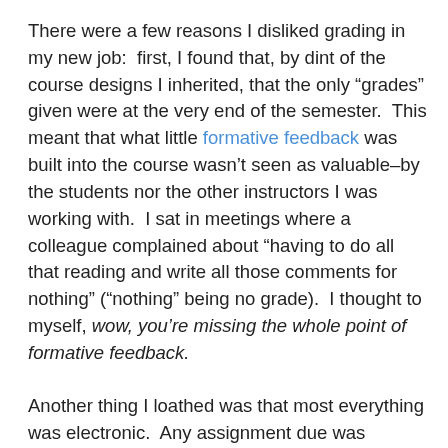There were a few reasons I disliked grading in my new job:  first, I found that, by dint of the course designs I inherited, that the only “grades” given were at the very end of the semester.  This meant that what little formative feedback was built into the course wasn’t seen as valuable–by the students nor the other instructors I was working with.  I sat in meetings where a colleague complained about “having to do all that reading and write all those comments for nothing” (“nothing” being no grade).  I thought to myself, wow, you’re missing the whole point of formative feedback.
Another thing I loathed was that most everything was electronic.  Any assignment due was expected to be turned in via email/eCampus/Google Drive two days prior to the class meeting, and the instructor was to give feedback by the end of the following Friday. This